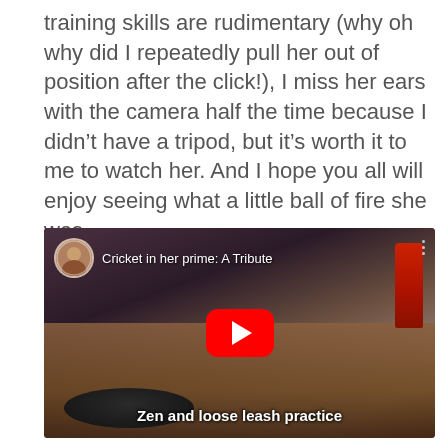training skills are rudimentary (why oh why did I repeatedly pull her out of position after the click!), I miss her ears with the camera half the time because I didn't have a tripod, but it's worth it to me to watch her. And I hope you all will enjoy seeing what a little ball of fire she was.
[Figure (screenshot): YouTube video thumbnail showing a dog lying on a wooden floor in what appears to be a training facility. A dog bowl is visible in the foreground. The video title overlay reads 'Cricket in her prime: A Tribute' with a channel avatar in top left. A red YouTube play button is centered. Bottom subtitle reads 'Zen and loose leash practice'.]